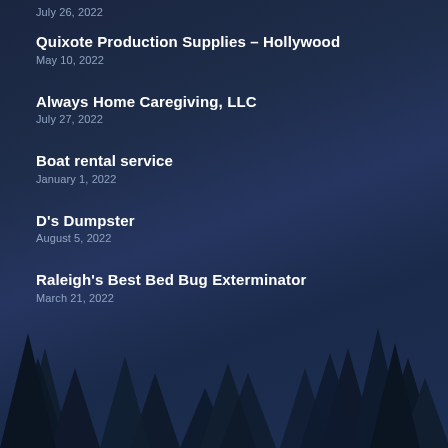July 26, 2022
Quixote Production Supplies – Hollywood
May 10, 2022
Always Home Caregiving, LLC
July 27, 2022
Boat rental service
January 1, 2022
D's Dumpster
August 5, 2022
Raleigh's Best Bed Bug Exterminator
March 21, 2022